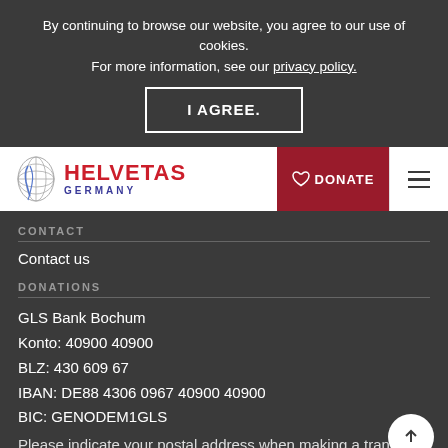By continuing to browse our website, you agree to our use of cookies. For more information, see our privacy policy.
I AGREE.
[Figure (logo): Helvetas Germany logo with globe icon and red HELVETAS text and blue GERMANY text]
DONATE
CONTACT
Contact us
DONATIONS
GLS Bank Bochum
Konto: 40900 40900
BLZ: 430 609 67
IBAN: DE88 4306 0967 40900 40900
BIC: GENODEM1GLS
Please indicate your postal address when making a transfer so that